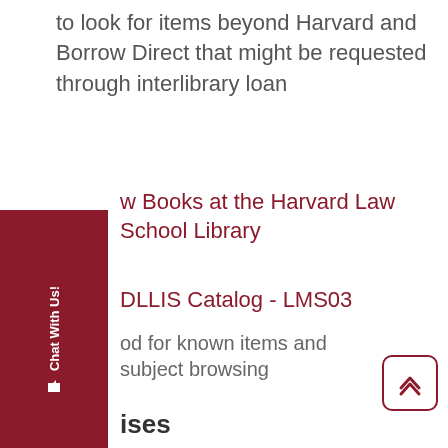to look for items beyond Harvard and Borrow Direct that might be requested through interlibrary loan
w Books at the Harvard Law School Library
DLLIS Catalog - LMS03
od for known items and subject browsing
Treatises
The following are treatises on broad topics with fairly regular updates and general treatment of the topics. It is also worthwhile to check for state-specific treatises on these topics where treatment can vary by statement.